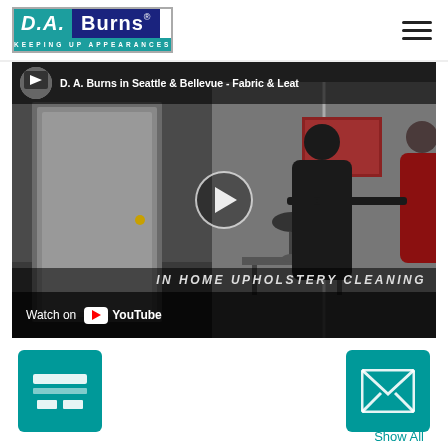[Figure (logo): D.A. Burns logo with teal and dark blue background, tagline KEEPING UP APPEARANCES]
[Figure (screenshot): YouTube video thumbnail: D.A. Burns in Seattle & Bellevue - Fabric & Leather upholstery cleaning, showing two people shaking hands in a home interior. Text overlay: IN HOME UPHOLSTERY CLEANING. Watch on YouTube bar at bottom.]
[Figure (illustration): Teal square button with credit card icon]
[Figure (illustration): Teal square button with envelope/email icon]
Show All